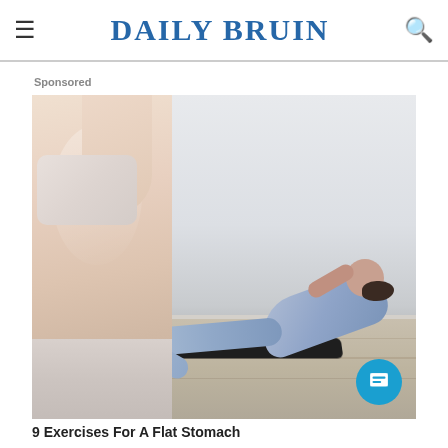DAILY BRUIN
Sponsored
[Figure (photo): Sponsored fitness advertisement showing a woman doing crunches/ab exercises on a yoga mat, wearing blue workout clothes, with a close-up of an abdomen in the foreground]
9 Exercises For A Flat Stomach